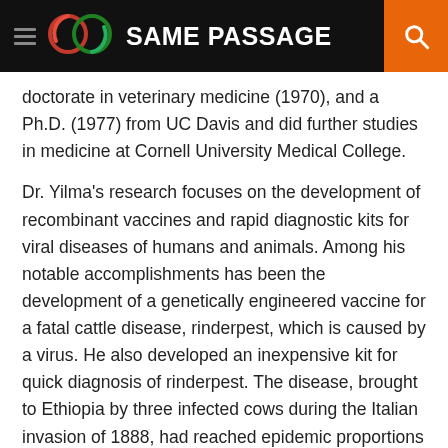SAME PASSAGE
doctorate in veterinary medicine (1970), and a Ph.D. (1977) from UC Davis and did further studies in medicine at Cornell University Medical College.
Dr. Yilma's research focuses on the development of recombinant vaccines and rapid diagnostic kits for viral diseases of humans and animals. Among his notable accomplishments has been the development of a genetically engineered vaccine for a fatal cattle disease, rinderpest, which is caused by a virus. He also developed an inexpensive kit for quick diagnosis of rinderpest. The disease, brought to Ethiopia by three infected cows during the Italian invasion of 1888, had reached epidemic proportions throughout Africa before Dr. Yilma's vaccine was introduced. He spent several years in the 1970s tracking the spread of the disease in Ethiopia and